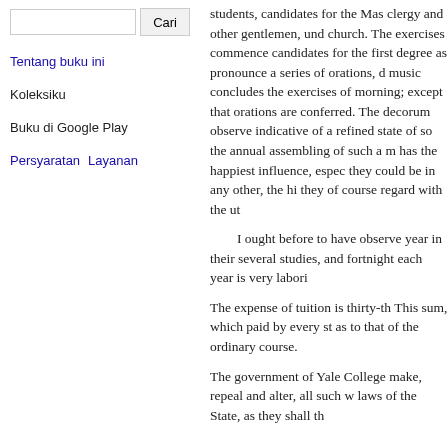Cari (search input and button)
Tentang buku ini
Koleksiku
Buku di Google Play
Persyaratan  Layanan
students, candidates for the Mas clergy and other gentlemen, und church. The exercises commence candidates for the first degree a pronounce a series of orations, d music concludes the exercises o morning; except that orations ar conferred. The decorum observe indicative of a refined state of s the annual assembling of such a has the happiest influence, espe they could be in any other, the h they of course regard with the ut
I ought before to have observ year in their several studies, an fortnight each year is very labor
The expense of tuition is thirty-t This sum, which paid by every s as to that of the ordinary course.
The government of Yale College make, repeal and alter, all such laws of the State, as they shall t